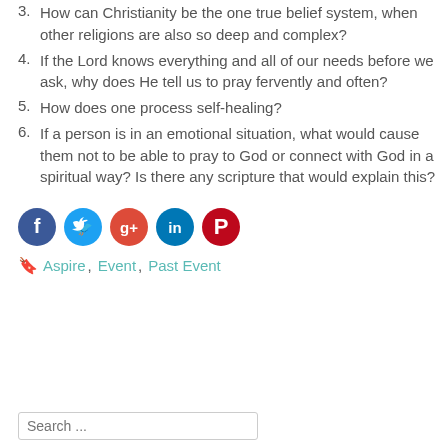How can Christianity be the one true belief system, when other religions are also so deep and complex?
If the Lord knows everything and all of our needs before we ask, why does He tell us to pray fervently and often?
How does one process self-healing?
If a person is in an emotional situation, what would cause them not to be able to pray to God or connect with God in a spiritual way? Is there any scripture that would explain this?
[Figure (infographic): Social media sharing icons: Facebook (blue), Twitter (light blue), Google+ (red-orange), LinkedIn (dark blue/teal), Pinterest (red)]
Aspire, Event, Past Event